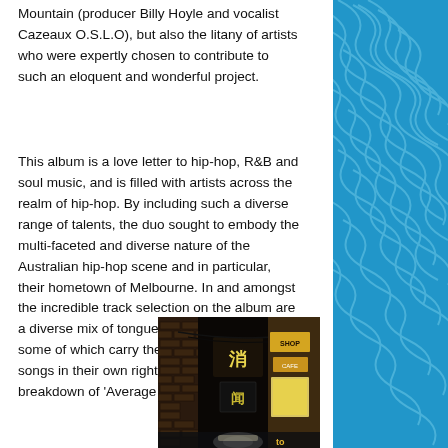Mountain (producer Billy Hoyle and vocalist Cazeaux O.S.L.O), but also the litany of artists who were expertly chosen to contribute to such an eloquent and wonderful project.
This album is a love letter to hip-hop, R&B and soul music, and is filled with artists across the realm of hip-hop. By including such a diverse range of talents, the duo sought to embody the multi-faceted and diverse nature of the Australian hip-hop scene and in particular, their hometown of Melbourne. In and amongst the incredible track selection on the album are a diverse mix of tongue-in-cheek interludes, some of which carry the impact of full-length songs in their own right. Read on for our full breakdown of 'Average Man'.
[Figure (photo): Night-time street scene showing an urban alleyway or laneway with neon signs, brick walls, and artificial lighting. Appears to be a Melbourne city laneway.]